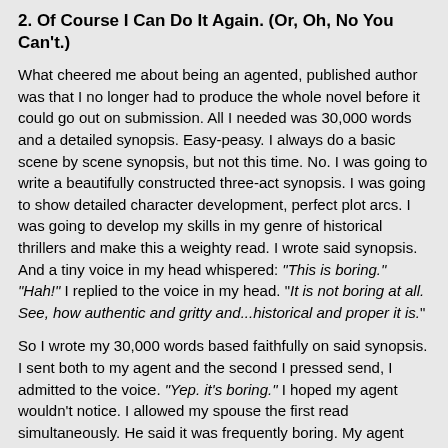2. Of Course I Can Do It Again. (Or, Oh, No You Can't.)
What cheered me about being an agented, published author was that I no longer had to produce the whole novel before it could go out on submission. All I needed was 30,000 words and a detailed synopsis. Easy-peasy. I always do a basic scene by scene synopsis, but not this time. No. I was going to write a beautifully constructed three-act synopsis. I was going to show detailed character development, perfect plot arcs. I was going to develop my skills in my genre of historical thrillers and make this a weighty read. I wrote said synopsis. And a tiny voice in my head whispered: "This is boring." "Hah!" I replied to the voice in my head. "It is not boring at all. See, how authentic and gritty and...historical and proper it is."
So I wrote my 30,000 words based faithfully on said synopsis. I sent both to my agent and the second I pressed send, I admitted to the voice. "Yep. it's boring." I hoped my agent wouldn't notice. I allowed my spouse the first read simultaneously. He said it was frequently boring. My agent was more tactful (Great writing, but...) But yes, it's boring. So